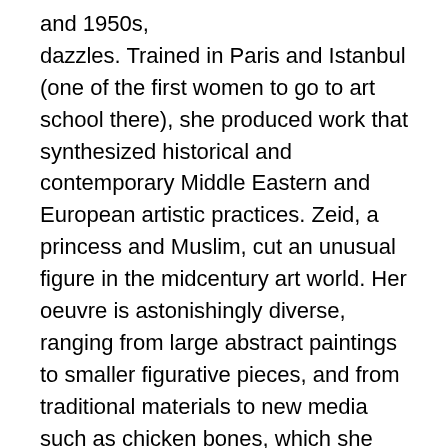and 1950s, dazzles. Trained in Paris and Istanbul (one of the first women to go to art school there), she produced work that synthesized historical and contemporary Middle Eastern and European artistic practices. Zeid, a princess and Muslim, cut an unusual figure in the midcentury art world. Her oeuvre is astonishingly diverse, ranging from large abstract paintings to smaller figurative pieces, and from traditional materials to new media such as chicken bones, which she painted, cast into polyester resin, and fashioned into stained-glass-like objects.
Zeid's vibrant and energetic works were widely exhibited and enjoyed critical success, and yet her work fell into obscurity in subsequent decades. Frances Morris, the director of Tate Modern, told the Guardian of the rediscovery of her work on a 2008 trip